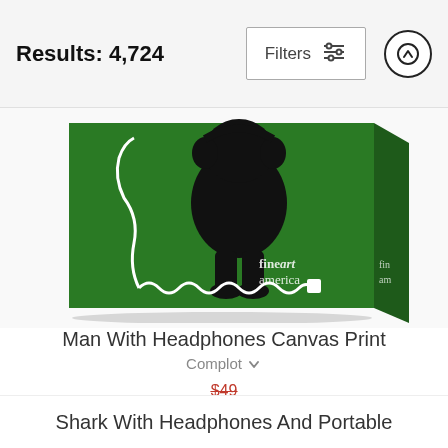Results: 4,724
[Figure (photo): Canvas print product image showing a black cartoon figure with headphones on a green background with a white curly cord, branded with 'fineart america' watermark. The canvas is shown at a slight angle.]
Man With Headphones Canvas Print
Complot
$49 (strikethrough) $40
Shark With Headphones And Portable